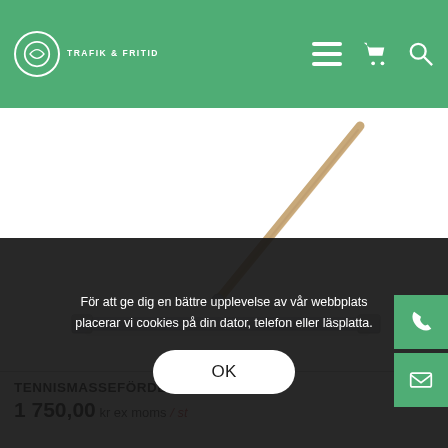Trafik & Fritid — website header with logo, hamburger menu, cart, and search icons
[Figure (photo): A tennis court drag/mass spreader tool (tennismassefördelare) — a long metal T-bar squeegee with a wooden handle set diagonally across the image on a white background.]
TENNISMASSEFÖRDELARE
1 750,00 kr ex moms / st
För att ge dig en bättre upplevelse av vår webbplats placerar vi cookies på din dator, telefon eller läsplatta.
OK